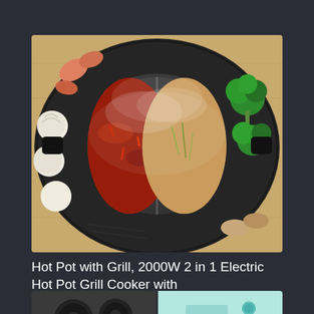[Figure (photo): Overhead view of a 2-in-1 electric hot pot and grill cooker. A large round black grill pan surrounds a divided pot in the center with two broths — one dark spicy and one clear broth — with steam visible. Various foods are arranged around the grill edge: shrimp, scallops, broccoli, and other ingredients on a wooden surface.]
Hot Pot with Grill, 2000W 2 in 1 Electric Hot Pot Grill Cooker with
[Figure (photo): Partial view of two kitchen appliances side by side: on the left, a dark/black donut maker or mini cake maker with circular molds visible; on the right, a mint/aqua colored small kitchen appliance (appears to be a Dash brand egg cooker or similar device).]